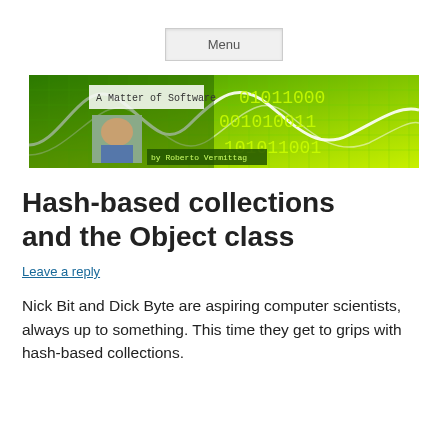Menu
[Figure (illustration): Banner image with green digital binary code background and grid with sine wave curve, overlaid with text 'A Matter of Software' and 'by Roberto Vermittag', small portrait photo of a man in lower left.]
Hash-based collections and the Object class
Leave a reply
Nick Bit and Dick Byte are aspiring computer scientists, always up to something. This time they get to grips with hash-based collections.